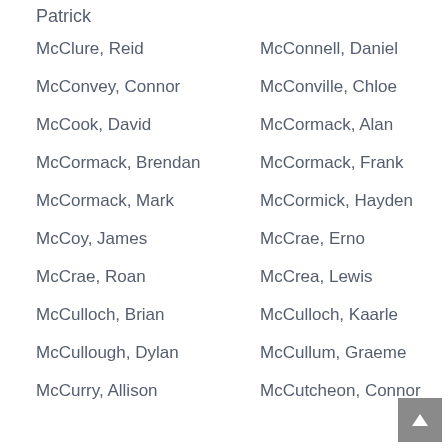Patrick
McClure, Reid
McConnell, Daniel
McConvey, Connor
McConville, Chloe
McCook, David
McCormack, Alan
McCormack, Brendan
McCormack, Frank
McCormack, Mark
McCormick, Hayden
McCoy, James
McCrae, Erno
McCrae, Roan
McCrea, Lewis
McCulloch, Brian
McCulloch, Kaarle
McCullough, Dylan
McCullum, Graeme
McCurry, Allison
McCutcheon, Connor